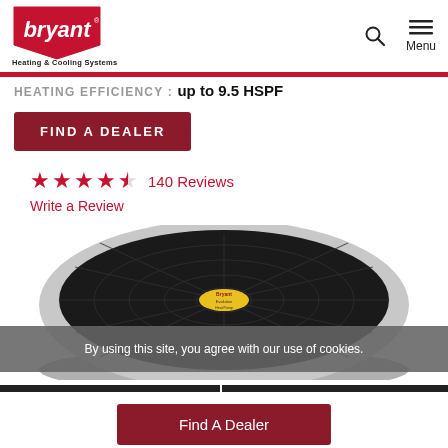[Figure (logo): Bryant Heating & Cooling Systems logo — red shield shape with white italic 'bryant' text, subtitle 'Heating & Cooling Systems' below]
HEATING EFFICIENCY: up to 9.5 HSPF
FIND A DEALER
★★★★½  140 Reviews
Write a Review
[Figure (photo): Bryant heat pump / air conditioner unit viewed from above, showing black fan grille and yellow Bryant label in center, grey cabinet body]
By using this site, you agree with our use of cookies.
Find A Dealer